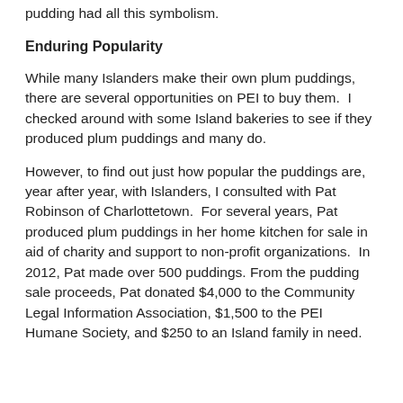pudding had all this symbolism.
Enduring Popularity
While many Islanders make their own plum puddings, there are several opportunities on PEI to buy them.  I checked around with some Island bakeries to see if they produced plum puddings and many do.
However, to find out just how popular the puddings are, year after year, with Islanders, I consulted with Pat Robinson of Charlottetown.  For several years, Pat produced plum puddings in her home kitchen for sale in aid of charity and support to non-profit organizations.  In 2012, Pat made over 500 puddings. From the pudding sale proceeds, Pat donated $4,000 to the Community Legal Information Association, $1,500 to the PEI Humane Society, and $250 to an Island family in need.